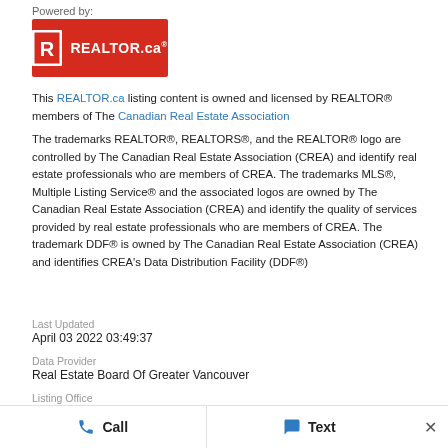Powered by:
[Figure (logo): REALTOR.ca logo — white R icon in a red rectangle with 'REALTOR.ca' text]
This REALTOR.ca listing content is owned and licensed by REALTOR® members of The Canadian Real Estate Association
The trademarks REALTOR®, REALTORS®, and the REALTOR® logo are controlled by The Canadian Real Estate Association (CREA) and identify real estate professionals who are members of CREA. The trademarks MLS®, Multiple Listing Service® and the associated logos are owned by The Canadian Real Estate Association (CREA) and identify the quality of services provided by real estate professionals who are members of CREA. The trademark DDF® is owned by The Canadian Real Estate Association (CREA) and identifies CREA's Data Distribution Facility (DDF®)
Last Updated
April 03 2022 03:49:37
Data Provider
Real Estate Board Of Greater Vancouver
Listing Office
Magsen Realty Inc.
RealtyPress WordPress CREA DDF® Plugin
Call
Text